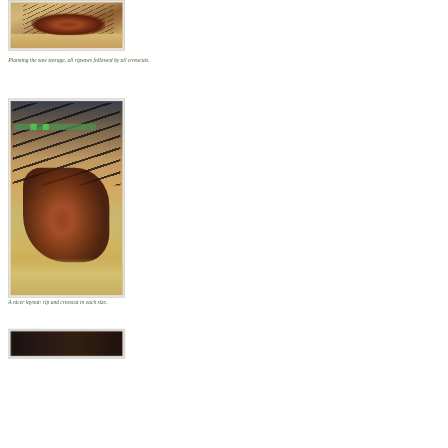[Figure (photo): Close-up photo of hand saw handles/totes stored in a wooden rack on a workbench, showing multiple saw handles arranged together]
Planning the saw storage, all ripsaws followed by all crosscuts.
[Figure (photo): Photo showing multiple hand saws stored upright in a wooden saw till, with blades facing up and handles (totes) at the bottom, arranged in a row. Green tape marks visible on the till dividers.]
A nicer layout: rip and crosscut in each size.
[Figure (photo): Partial view of another saw storage photo, mostly dark/black, cut off at bottom of page]